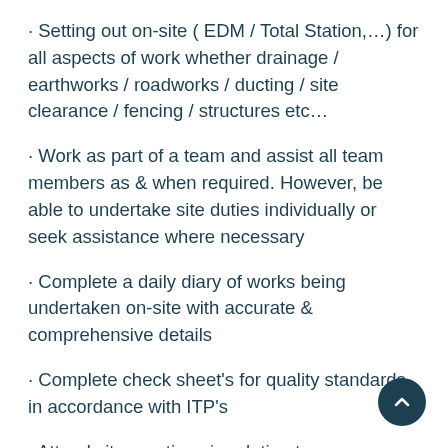· Setting out on-site ( EDM / Total Station,…) for all aspects of work whether drainage / earthworks / roadworks / ducting / site clearance / fencing / structures etc…
· Work as part of a team and assist all team members as & when required. However, be able to undertake site duties individually or seek assistance where necessary
· Complete a daily diary of works being undertaken on-site with accurate & comprehensive details
· Complete check sheet's for quality standards, in accordance with ITP's
· Attend site meetings in relation to programme / safety / and in…